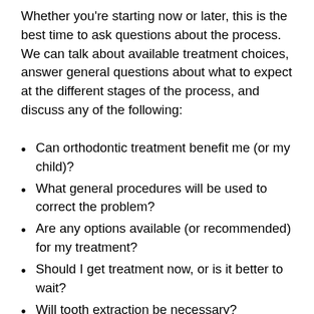Whether you're starting now or later, this is the best time to ask questions about the process. We can talk about available treatment choices, answer general questions about what to expect at the different stages of the process, and discuss any of the following:
Can orthodontic treatment benefit me (or my child)?
What general procedures will be used to correct the problem?
Are any options available (or recommended) for my treatment?
Should I get treatment now, or is it better to wait?
Will tooth extraction be necessary?